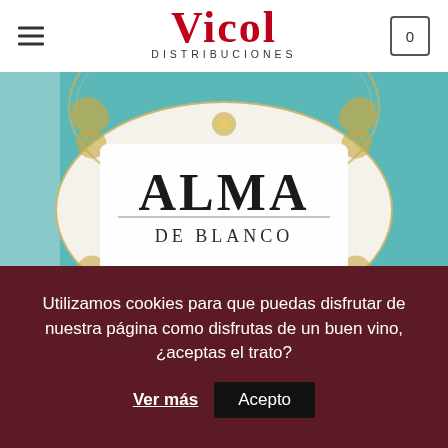Vicol Distribuciones
[Figure (photo): Close-up of a wine bottle label for 'Alma de Blanco', Monterrei Denominación de Orixe, Spain. The label features ornate gold baroque scroll decorations on a white background, with the text ALMA in large serif font and DE BLANCO below. The bottle has a teal/turquoise background. Below the label reads MONTERREI, DENOMINACION DE ORIXE, SPAIN.]
Utilizamos cookies para que puedas disfrutar de nuestra página como disfrutas de un buen vino, ¿aceptas el trato?
Ver más
Acepto